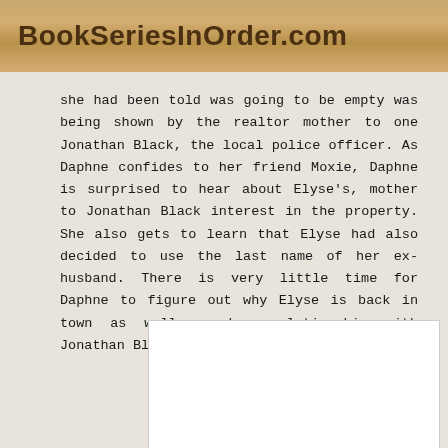BookSeriesInOrder.com
she had been told was going to be empty was being shown by the realtor mother to one Jonathan Black, the local police officer. As Daphne confides to her friend Moxie, Daphne is surprised to hear about Elyse's, mother to Jonathan Black interest in the property. She also gets to learn that Elyse had also decided to use the last name of her ex-husband. There is very little time for Daphne to figure out why Elyse is back in town as well as her relationship with Jonathan Black, the local police officer.
[Figure (other): White blank image placeholder rectangle]